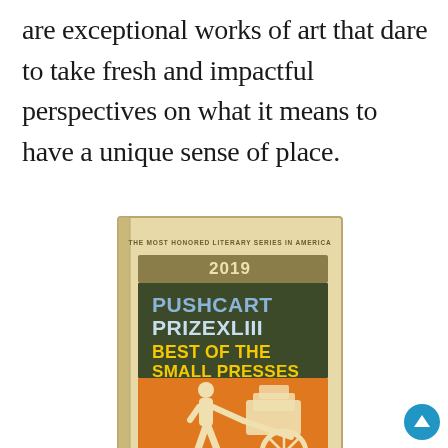are exceptional works of art that dare to take fresh and impactful perspectives on what it means to have a unique sense of place.
[Figure (illustration): Book cover: Pushcart Prize XLIII Best of the Small Presses 2019, edited by Bill Henderson with the Pushcart Prize Editors. Cream/tan cover with dark olive border, featuring orange illustration of person pushing a cart with large wheel. Title text shows 'PUSHCART PRIZEXLIII' in blue and white, 'BEST OF THE SMALL PRESSES' in yellow, header reads 'THE MOST HONORED LITERARY SERIES IN AMERICA'.]